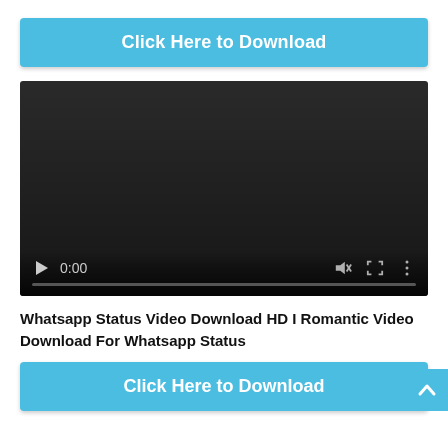[Figure (screenshot): Blue 'Click Here to Download' button at the top of the page]
[Figure (screenshot): Embedded video player showing a dark/black screen with playback controls: play button, time display '0:00', mute icon, fullscreen icon, more options icon, and a progress bar at the bottom]
Whatsapp Status Video Download HD I Romantic Video Download For Whatsapp Status
[Figure (screenshot): Blue 'Click Here to Download' button at the bottom of the page, with a scroll-to-top arrow button in the bottom-right corner]